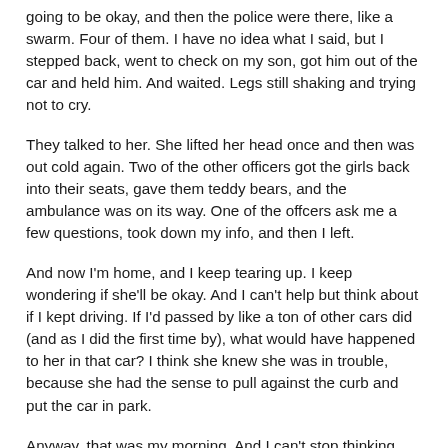going to be okay, and then the police were there, like a swarm. Four of them. I have no idea what I said, but I stepped back, went to check on my son, got him out of the car and held him. And waited. Legs still shaking and trying not to cry.
They talked to her. She lifted her head once and then was out cold again. Two of the other officers got the girls back into their seats, gave them teddy bears, and the ambulance was on its way. One of the offcers ask me a few questions, took down my info, and then I left.
And now I'm home, and I keep tearing up. I keep wondering if she'll be okay. And I can't help but think about if I kept driving. If I'd passed by like a ton of other cars did (and as I did the first time by), what would have happened to her in that car? I think she knew she was in trouble, because she had the sense to pull against the curb and put the car in park.
Anyway, that was my morning. And I can't stop thinking about her, how precious life is, and how one single moment